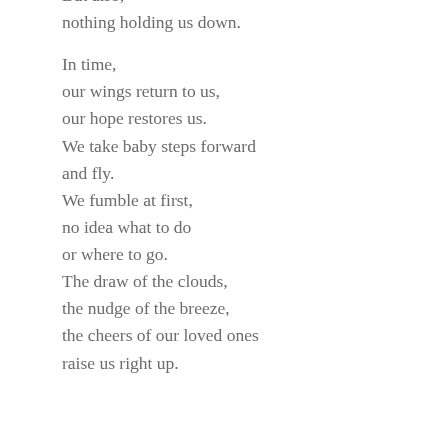But also,
nothing holding us down.

In time,
our wings return to us,
our hope restores us.
We take baby steps forward
and fly.
We fumble at first,
no idea what to do
or where to go.
The draw of the clouds,
the nudge of the breeze,
the cheers of our loved ones
raise us right up.